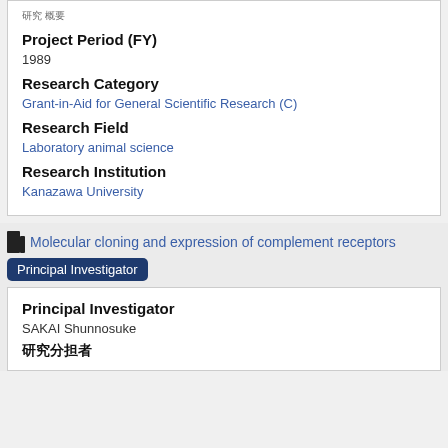研究 概要
Project Period (FY)
1989
Research Category
Grant-in-Aid for General Scientific Research (C)
Research Field
Laboratory animal science
Research Institution
Kanazawa University
Molecular cloning and expression of complement receptors
Principal Investigator
Principal Investigator
SAKAI Shunnosuke